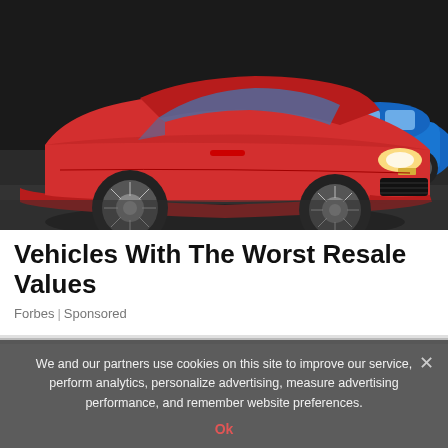[Figure (photo): A red Chevrolet Camaro sports car parked at an auto show with a blue compact car visible in the background.]
Vehicles With The Worst Resale Values
Forbes | Sponsored
We and our partners use cookies on this site to improve our service, perform analytics, personalize advertising, measure advertising performance, and remember website preferences.
Ok